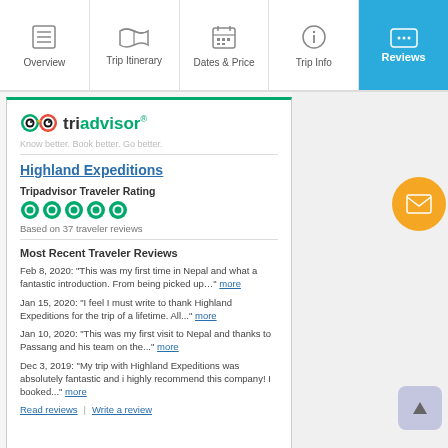Overview | Trip Itinerary | Dates & Price | Trip Info | Reviews
[Figure (screenshot): TripAdvisor logo with owl icon, tagline: Know better. Book better. Go better.]
Highland Expeditions
Tripadvisor Traveler Rating
[Figure (infographic): 5 green TripAdvisor circles (full rating)]
Based on 37 traveler reviews
Most Recent Traveler Reviews
Feb 8, 2020: “This was my first time in Nepal and what a fantastic introduction. From being picked up...” more
Jan 15, 2020: “I feel I must write to thank Highland Expeditions for the trip of a lifetime. All...” more
Jan 10, 2020: “This was my first visit to Nepal and thanks to Passang and his team on the...” more
Dec 3, 2019: “My trip with Highland Expeditions was absolutely fantastic and i highly recommend this company! I booked...” more
Read reviews | Write a review